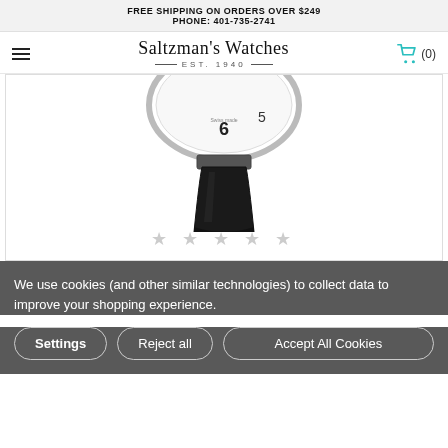FREE SHIPPING ON ORDERS OVER $249
PHONE: 401-735-2741
Saltzman's Watches EST. 1940
[Figure (photo): Partial view of a watch face showing numbers 6 and 5, with a black leather strap visible below the silver case.]
★ ★ ★ ★ ★ (star rating row, all empty/gray)
We use cookies (and other similar technologies) to collect data to improve your shopping experience.
Settings | Reject all | Accept All Cookies